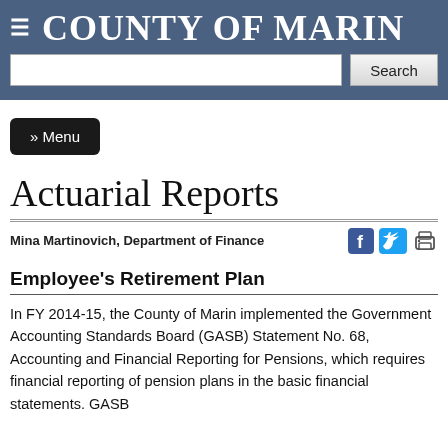COUNTY OF MARIN
Actuarial Reports
Mina Martinovich, Department of Finance
Employee's Retirement Plan
In FY 2014-15, the County of Marin implemented the Government Accounting Standards Board (GASB) Statement No. 68, Accounting and Financial Reporting for Pensions, which requires financial reporting of pension plans in the basic financial statements. GASB